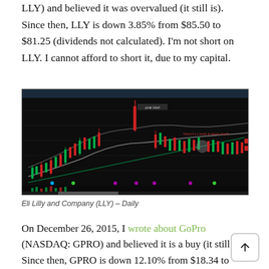LLY) and believed it was overvalued (it still is). Since then, LLY is down 3.85% from $85.50 to $81.25 (dividends not calculated). I'm not short on LLY. I cannot afford to short it, due to my capital.
[Figure (screenshot): Candlestick chart of Eli Lilly and Company (LLY) on a daily timeframe, dark background, showing price action with green and red candles, moving average lines, and volume bars at the bottom.]
Eli Lilly and Company (LLY) – Daily
On December 26, 2015, I wrote about GoPro (NASDAQ: GPRO) and believed it is a buy (it still is). Since then, GPRO is down 12.10% from $18.34 to